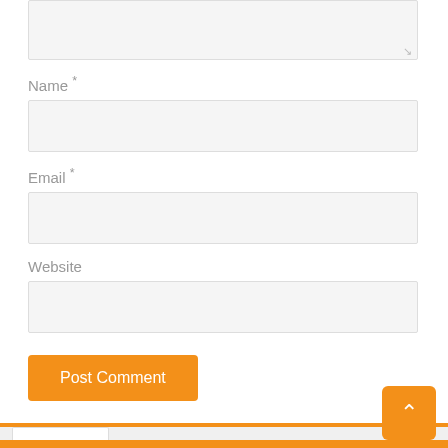[Figure (screenshot): Bottom portion of a comment form showing Name, Email, Website text inputs and a Post Comment button, followed by a tabbed widget with Popular/Recent/Comments/Tags tabs, and an article entry for 'Sources of Drugs' dated August 7, 2011 with 63 comments, alongside a scroll-to-top orange button.]
Name *
Email *
Website
Post Comment
Popular
Recent
Comments
Tags
Sources of Drugs
August 7, 2011  63